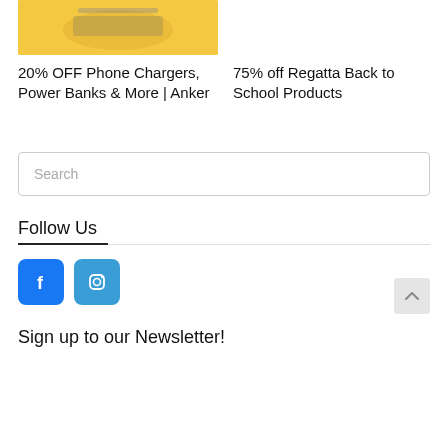[Figure (photo): Yellow product image partially visible at top, showing an Anker product]
20% OFF Phone Chargers, Power Banks & More | Anker
75% off Regatta Back to School Products
Search
Follow Us
[Figure (logo): Facebook logo icon - blue square with white f]
[Figure (logo): Instagram logo icon - blue square with camera outline]
Sign up to our Newsletter!